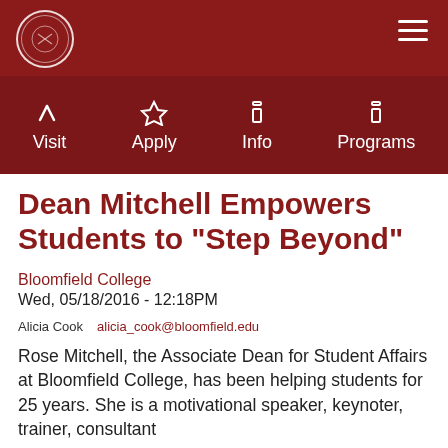[Figure (logo): Bloomfield College circular seal/logo in white on dark red background, top left of header]
Visit   Apply   Info   Programs
Dean Mitchell Empowers Students to "Step Beyond"
Bloomfield College
Wed, 05/18/2016 - 12:18PM
Alicia Cook   alicia_cook@bloomfield.edu
Rose Mitchell, the Associate Dean for Student Affairs at Bloomfield College, has been helping students for 25 years. She is a motivational speaker, keynoter, trainer, consultant